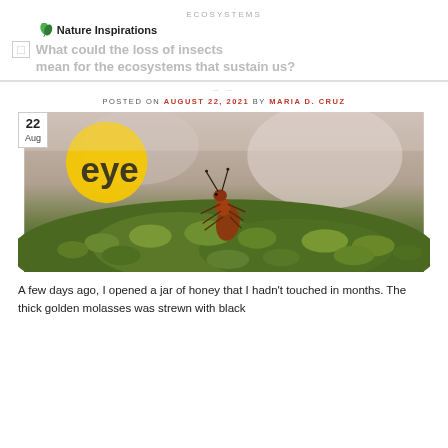ECOSYSTEMS
What could the loss of insects mean for the ecosystems that sustain us?
POSTED ON AUGUST 22, 2021 BY MARIA D. CRUZ
[Figure (photo): Close-up macro photograph of a red ant walking on bright green moss, with blurred background. A yellow circular logo with text 'eye' is visible in the top left corner. A date badge showing '22 Aug' is overlaid on the top left.]
A few days ago, I opened a jar of honey that I hadn't touched in months. The thick golden molasses was strewn with black